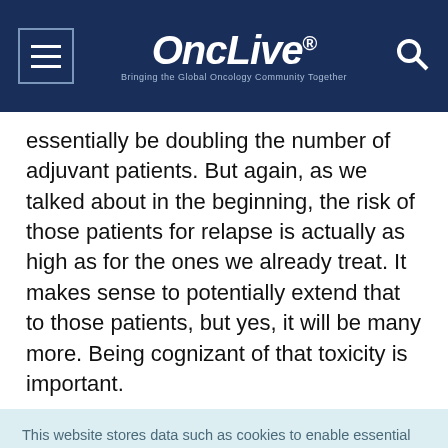OncLive® — Bringing the Global Oncology Community Together
essentially be doubling the number of adjuvant patients. But again, as we talked about in the beginning, the risk of those patients for relapse is actually as high as for the ones we already treat. It makes sense to potentially extend that to those patients, but yes, it will be many more. Being cognizant of that toxicity is important.
This website stores data such as cookies to enable essential site functionality, as well as marketing, personalization, and analytics. Cookie Policy
Accept
Deny